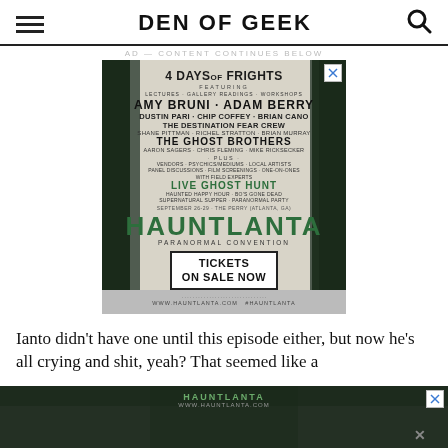DEN OF GEEK
AD — CONTENT CONTINUES BELOW
[Figure (photo): Advertisement for Hauntlanta Paranormal Convention showing '4 Days of Frights' event poster with featured guests including Amy Bruni, Adam Berry, The Ghost Brothers, and others, with tickets on sale at www.hauntlanta.com]
Ianto didn't have one until this episode either, but now he's all crying and shit, yeah? That seemed like a
[Figure (photo): Bottom banner advertisement for Hauntlanta showing group of people against a dark background with 'Hauntlanta' text and website URL]